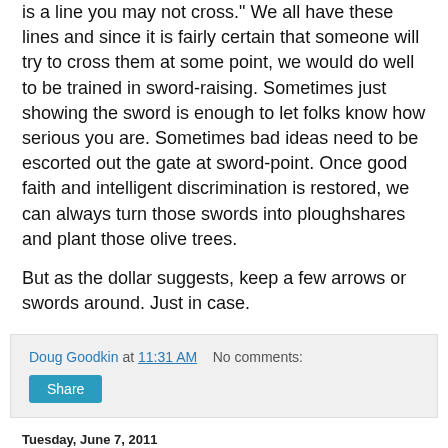is a line you may not cross." We all have these lines and since it is fairly certain that someone will try to cross them at some point, we would do well to be trained in sword-raising. Sometimes just showing the sword is enough to let folks know how serious you are. Sometimes bad ideas need to be escorted out the gate at sword-point. Once good faith and intelligent discrimination is restored, we can always turn those swords into ploughshares and plant those olive trees.
But as the dollar suggests, keep a few arrows or swords around. Just in case.
Doug Goodkin at 11:31 AM   No comments:
Share
Tuesday, June 7, 2011
Leaping Into Summer
Harrison Elementary School, Roselle, New Jersey. I'm 8, 9, 10 years old and watching the clock nudge its snail's pace